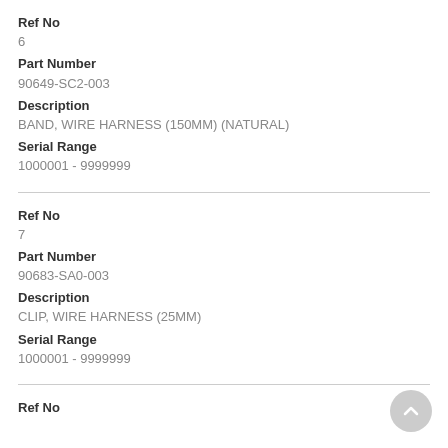Ref No
6
Part Number
90649-SC2-003
Description
BAND, WIRE HARNESS (150MM) (NATURAL)
Serial Range
1000001 - 9999999
Ref No
7
Part Number
90683-SA0-003
Description
CLIP, WIRE HARNESS (25MM)
Serial Range
1000001 - 9999999
Ref No